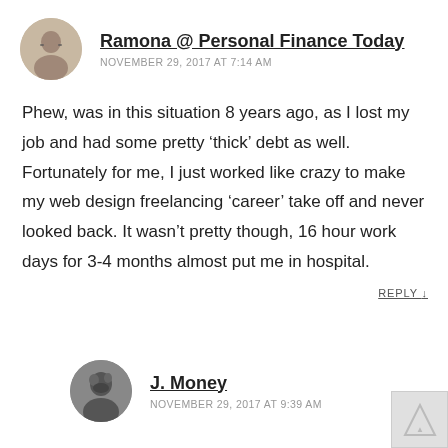Ramona @ Personal Finance Today
NOVEMBER 29, 2017 AT 7:14 AM
Phew, was in this situation 8 years ago, as I lost my job and had some pretty ‘thick’ debt as well. Fortunately for me, I just worked like crazy to make my web design freelancing ‘career’ take off and never looked back. It wasn’t pretty though, 16 hour work days for 3-4 months almost put me in hospital.
REPLY ↓
J. Money
NOVEMBER 29, 2017 AT 9:39 AM